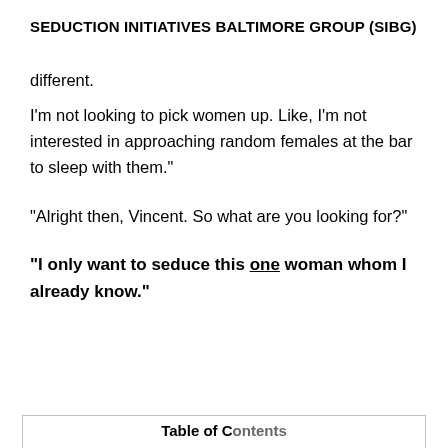SEDUCTION INITIATIVES BALTIMORE GROUP (SIBG)
different.
I'm not looking to pick women up. Like, I'm not interested in approaching random females at the bar to sleep with them."
"Alright then, Vincent. So what are you looking for?"
"I only want to seduce this one woman whom I already know."